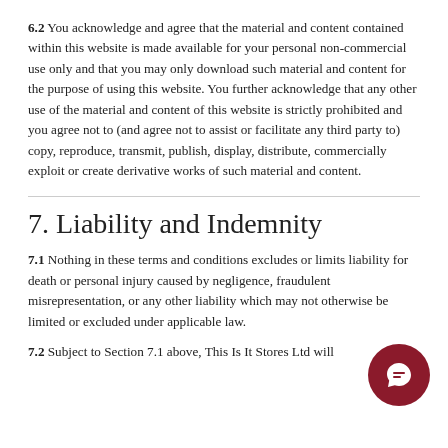6.2 You acknowledge and agree that the material and content contained within this website is made available for your personal non-commercial use only and that you may only download such material and content for the purpose of using this website. You further acknowledge that any other use of the material and content of this website is strictly prohibited and you agree not to (and agree not to assist or facilitate any third party to) copy, reproduce, transmit, publish, display, distribute, commercially exploit or create derivative works of such material and content.
7. Liability and Indemnity
7.1 Nothing in these terms and conditions excludes or limits liability for death or personal injury caused by negligence, fraudulent misrepresentation, or any other liability which may not otherwise be limited or excluded under applicable law.
7.2 Subject to Section 7.1 above, This Is It Stores Ltd will